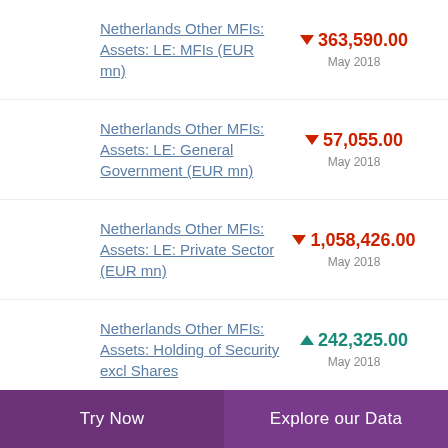Netherlands Other MFIs: Assets: LE: MFIs (EUR mn) ▼ 363,590.00 May 2018
Netherlands Other MFIs: Assets: LE: General Government (EUR mn) ▼ 57,055.00 May 2018
Netherlands Other MFIs: Assets: LE: Private Sector (EUR mn) ▼ 1,058,426.00 May 2018
Netherlands Other MFIs: Assets: Holding of Security excl Shares ▲ 242,325.00 May 2018
Try Now | Explore our Data